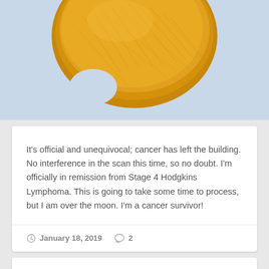[Figure (photo): Close-up photo of a golden-brown lemon or citrus fruit with fibrous texture on a light blue background, partially cropped at top]
It's official and unequivocal; cancer has left the building. No interference in the scan this time, so no doubt. I'm officially in remission from Stage 4 Hodgkins Lymphoma. This is going to take some time to process, but I am over the moon. I'm a cancer survivor!
January 18, 2019  2
Cancer is a House Fire...